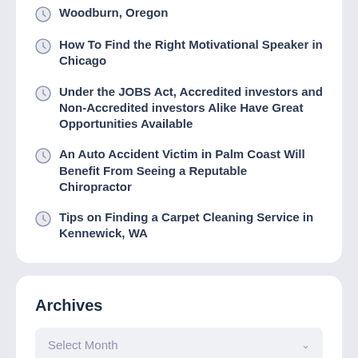What to Know About Assisted Living Near Woodburn, Oregon
How To Find the Right Motivational Speaker in Chicago
Under the JOBS Act, Accredited investors and Non-Accredited investors Alike Have Great Opportunities Available
An Auto Accident Victim in Palm Coast Will Benefit From Seeing a Reputable Chiropractor
Tips on Finding a Carpet Cleaning Service in Kennewick, WA
Archives
Select Month